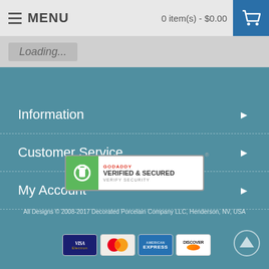MENU   0 item(s) - $0.00
Loading...
Information
Customer Service
My Account
[Figure (logo): GoDaddy Verified & Secured badge with lock icon and 'VERIFY SECURITY' text]
All Designs © 2008-2017 Decorated Porcelain Company LLC, Henderson, NV, USA
[Figure (other): Payment method icons: Visa Electron, MasterCard, American Express, Discover]